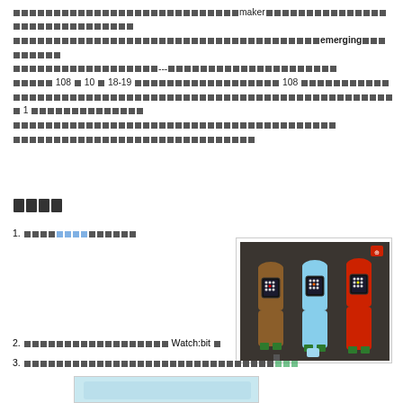Thai text paragraph mentioning 'maker', 'emerging', dates 108, 10, 18-19, 108, 1
วิธีทำ
1. Thai text with hyperlink
[Figure (photo): Three wearable watch-like devices with micro:bit boards on leather/foam straps in brown, blue, and red colors]
2. Thai text about Watch:bit
3. Thai text with green hyperlink
[Figure (photo): Partial image at bottom of page, light blue background]